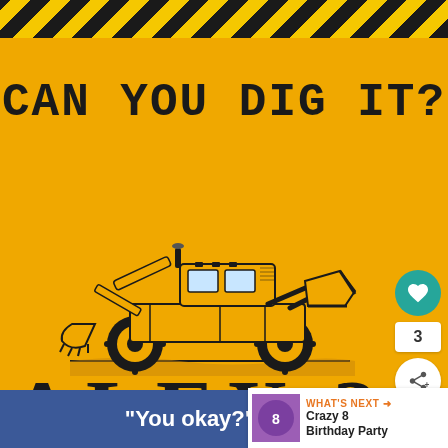[Figure (illustration): Hazard warning diagonal stripe bar in black and yellow at top of page]
CAN YOU DIG IT?
[Figure (illustration): Black and white sketch illustration of a backhoe/construction loader]
ALEX IS TURNING 3
CALLING ALL BUILDERS BIG AND SMALL
COME EARN YOUR HARD HAT AND HAVE A BALL
[Figure (screenshot): Blue ad banner at bottom with text: "You okay?" and social media buttons on right side and What's Next panel showing Crazy 8 Birthday Party]